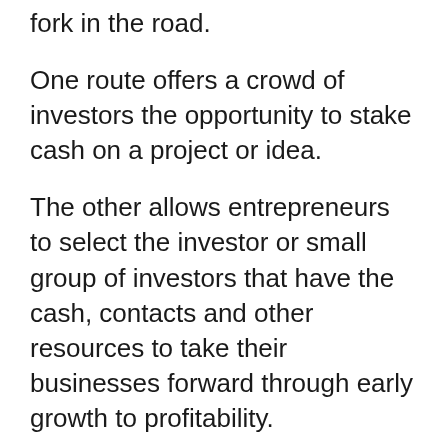fork in the road.
One route offers a crowd of investors the opportunity to stake cash on a project or idea.
The other allows entrepreneurs to select the investor or small group of investors that have the cash, contacts and other resources to take their businesses forward through early growth to profitability.
Some institutional investors are also dipping a toe in the crowdfunding pond.
Equity crowdfunding is dead, says Ryan Caldbeck, founder and CEO of investment platform CircleUp.